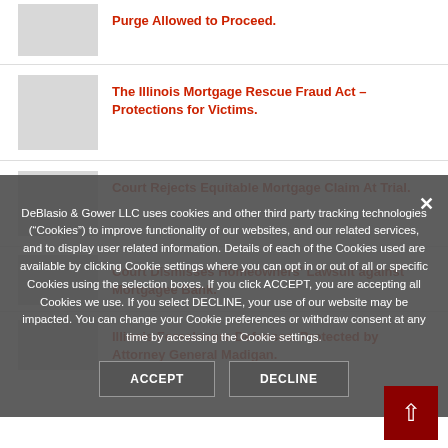[Figure (photo): Thumbnail image placeholder (gray box) for article about Purge Allowed to Proceed]
Purge Allowed to Proceed.
[Figure (photo): Thumbnail image placeholder (gray box) for article about Illinois Mortgage Rescue Fraud Act]
The Illinois Mortgage Rescue Fraud Act – Protections for Victims.
[Figure (photo): Thumbnail image placeholder (gray box) for article about Court Rejects Equitable Mortgage Claim]
Court Rejects Equitable Mortgage Claim At Trial.
Court Dismisses Homeowners' Lawsuit against Mortgagee Bank.
Illinois Foreclosure Defenses. Protected by Attorney General Madigan.
DeBlasio & Gower LLC uses cookies and other third party tracking technologies ("Cookies") to improve functionality of our websites, and our related services, and to display user related information. Details of each of the Cookies used are available by clicking Cookie settings where you can opt in or out of all or specific Cookies using the selection boxes. If you click ACCEPT, you are accepting all Cookies we use. If you select DECLINE, your use of our website may be impacted. You can change your Cookie preferences or withdraw consent at any time by accessing the Cookie settings.
ACCEPT
DECLINE